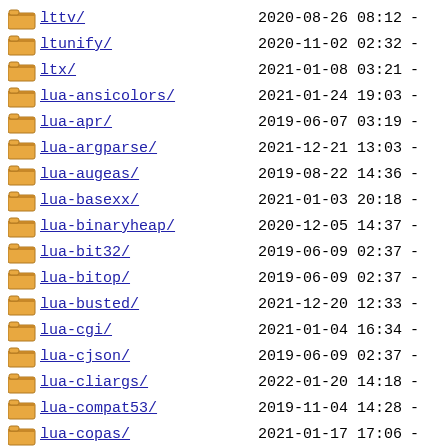lttv/ 2020-08-26 08:12 -
ltunify/ 2020-11-02 02:32 -
ltx/ 2021-01-08 03:21 -
lua-ansicolors/ 2021-01-24 19:03 -
lua-apr/ 2019-06-07 03:19 -
lua-argparse/ 2021-12-21 13:03 -
lua-augeas/ 2019-08-22 14:36 -
lua-basexx/ 2021-01-03 20:18 -
lua-binaryheap/ 2020-12-05 14:37 -
lua-bit32/ 2019-06-09 02:37 -
lua-bitop/ 2019-06-09 02:37 -
lua-busted/ 2021-12-20 12:33 -
lua-cgi/ 2021-01-04 16:34 -
lua-cjson/ 2019-06-09 02:37 -
lua-cliargs/ 2022-01-20 14:18 -
lua-compat53/ 2019-11-04 14:28 -
lua-copas/ 2021-01-17 17:06 -